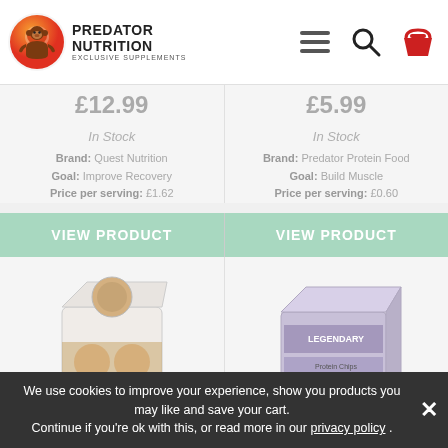[Figure (logo): Predator Nutrition logo with gorilla icon and text 'PREDATOR NUTRITION EXCLUSIVE SUPPLEMENTS']
£12.99
£5.99
In Stock
In Stock
Brand: Quest Nutrition
Goal: Improve Recovery
Price per serving: £1.62
Brand: Predator Protein Food
Goal: Build Muscle
Price per serving: £0.60
VIEW PRODUCT
VIEW PRODUCT
[Figure (photo): Box of Quest Nutrition protein cookies]
[Figure (photo): Box of Legendary protein snacks]
We use cookies to improve your experience, show you products you may like and save your cart.
Continue if you're ok with this, or read more in our privacy policy .